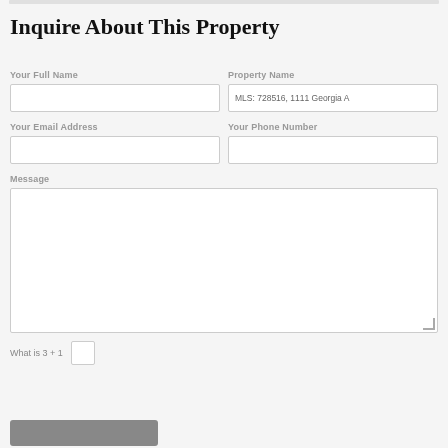Inquire About This Property
Your Full Name
Property Name
MLS: 728516, 1111 Georgia A
Your Email Address
Your Phone Number
Message
What is 3 + 1